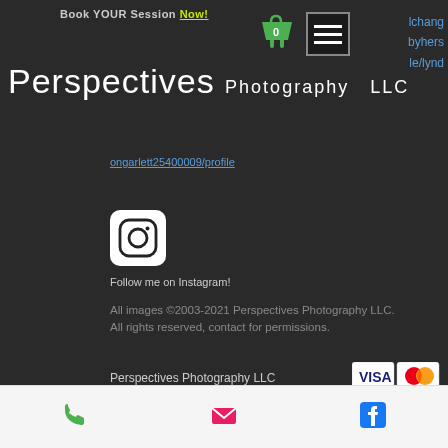Book YOUR Session Now!
Perspectives Photography LLC
ongarlett25400009/profile (link)
[Figure (logo): Instagram logo icon - white square with rounded corners containing circle and dot]
Follow me on Instagram!
All images ©2003-2021 Perspectives Photography LLC. All rights reserved, contact for permissions.
Perspectives Photography LLC
Robbinsdale, Minnesota USA
allen@perspectivesfoto.com
[Figure (other): Payment method logos: Visa, MasterCard, Discover, American Express]
Registered, Preferred, & Insured
Phone | Email | Facebook icons